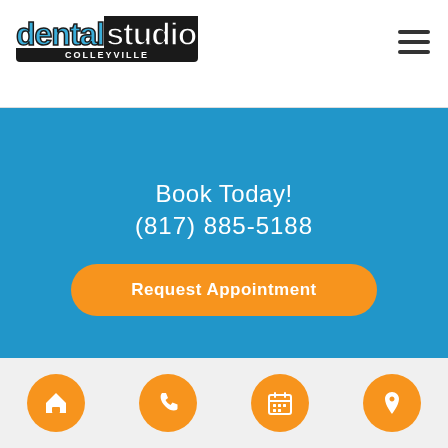[Figure (logo): Dental Studio Colleyville logo - blue and white text with dark outline, 'dental' in blue and 'studio' in white on dark background, 'COLLEYVILLE' in small caps below]
Book Today!
(817) 885-5188
Request Appointment
Comments or Suggestions?